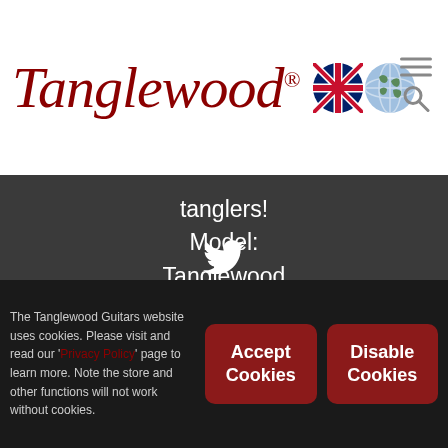[Figure (logo): Tanglewood Guitars logo in dark red cursive script with registered trademark symbol, UK flag and globe icons to the right, hamburger menu and search icon on far right]
tanglers!
Model:
Tanglewood TW U SFCE
Tanglewood TWCR OE
Tanglewood TWCR D...
twitter.com/i/web/status/1...
13 hours ago
[Figure (illustration): White Twitter bird icon]
The Tanglewood Guitars website uses cookies. Please visit and read our 'Privacy Policy' page to learn more. Note the store and other functions will not work without cookies.
Accept Cookies
Disable Cookies